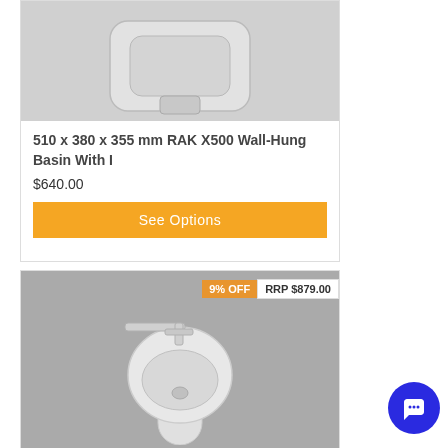[Figure (photo): Wall-hung basin product photo, top view on grey background]
510 x 380 x 355 mm RAK X500 Wall-Hung Basin With I
$640.00
See Options
[Figure (photo): Freestanding round pedestal basin with wall-mounted tap, product photo on grey background]
9% OFF  RRP $879.00